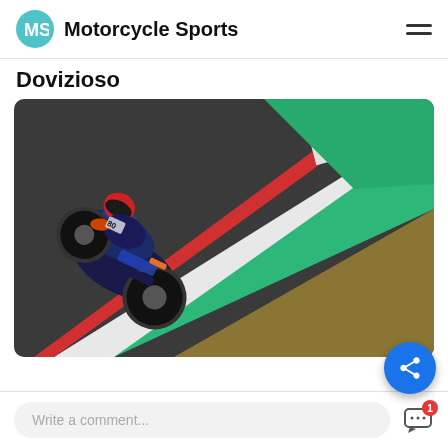MS Motorcycle Sports
Dovizioso
[Figure (photo): MotoGP motorcycle rider leaning into a turn on a racing circuit, with red and green curbing visible. The bike is dark blue with red and orange accents, branded with 'WithU Yamaha' livery.]
Write a comment...